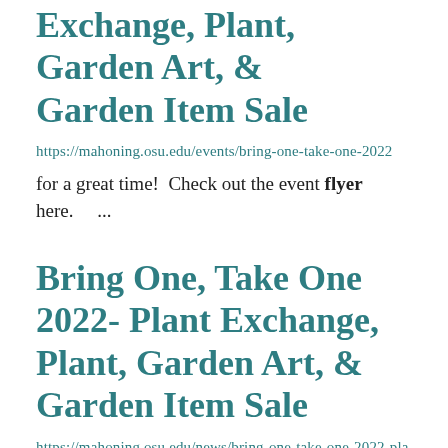Exchange, Plant, Garden Art, & Garden Item Sale
https://mahoning.osu.edu/events/bring-one-take-one-2022
for a great time!  Check out the event flyer here.    ...
Bring One, Take One 2022- Plant Exchange, Plant, Garden Art, & Garden Item Sale
https://mahoning.osu.edu/news/bring-one-take-one-2022-plant-exchange-plant-and-garden-art-sale
Join us for a fun Saturday and take home something new for your garden. Check out the event flyer